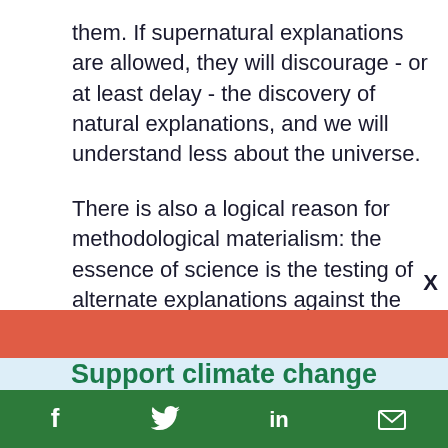them. If supernatural explanations are allowed, they will discourage - or at least delay - the discovery of natural explanations, and we will understand less about the universe.

There is also a logical reason for methodological materialism: the essence of science is the testing of alternate explanations against the natural world. To "test" means to
Support climate change
f  [twitter]  in  [email]